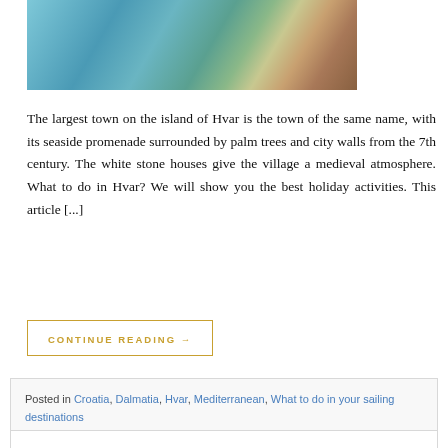[Figure (photo): Aerial view of boats anchored in a turquoise bay near a rocky island coastline with trees and orange-roofed buildings, Hvar, Croatia]
The largest town on the island of Hvar is the town of the same name, with its seaside promenade surrounded by palm trees and city walls from the 7th century. The white stone houses give the village a medieval atmosphere. What to do in Hvar? We will show you the best holiday activities. This article [...]
CONTINUE READING →
Posted in Croatia, Dalmatia, Hvar, Mediterranean, What to do in your sailing destinations
What to do in Stari Grad: Visit the